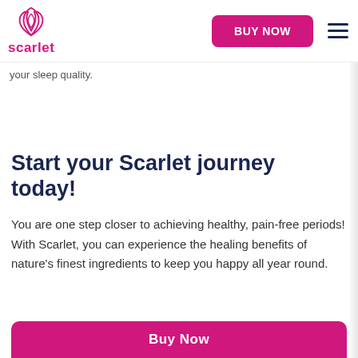[Figure (logo): Scarlet brand logo with pink lotus/flame icon above text 'scarlet' in pink]
BUY NOW
your sleep quality.
Start your Scarlet journey today!
You are one step closer to achieving healthy, pain-free periods! With Scarlet, you can experience the healing benefits of nature's finest ingredients to keep you happy all year round.
Buy Now